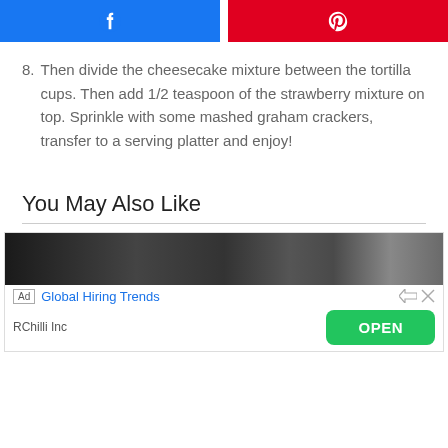[Figure (other): Social share buttons: Facebook (blue) and Pinterest (red)]
8. Then divide the cheesecake mixture between the tortilla cups. Then add 1/2 teaspoon of the strawberry mixture on top. Sprinkle with some mashed graham crackers, transfer to a serving platter and enjoy!
You May Also Like
[Figure (screenshot): Advertisement banner with photo, Global Hiring Trends ad by RChilli Inc with OPEN button]